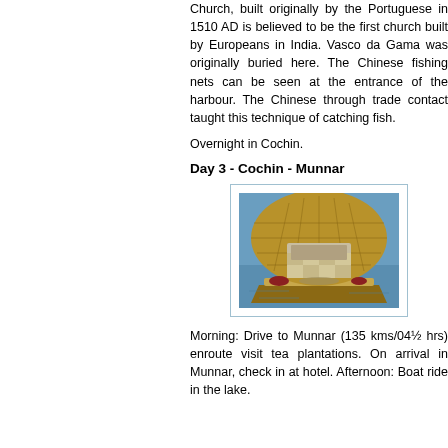Church, built originally by the Portuguese in 1510 AD is believed to be the first church built by Europeans in India. Vasco da Gama was originally buried here. The Chinese fishing nets can be seen at the entrance of the harbour. The Chinese through trade contact taught this technique of catching fish.
Overnight in Cochin.
Day 3 - Cochin - Munnar
[Figure (photo): Photo of a traditional Kerala houseboat interior seen from the front, with a woven bamboo/cane rounded roof canopy, looking out over a lake. Items are arranged on the deck.]
Morning: Drive to Munnar (135 kms/04½ hrs) enroute visit tea plantations. On arrival in Munnar, check in at hotel. Afternoon: Boat ride in the lake.